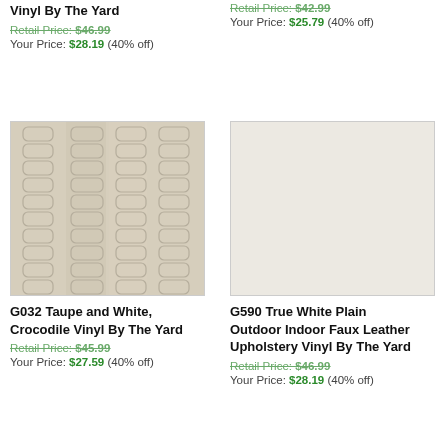Vinyl By The Yard
Retail Price: $46.99
Your Price: $28.19 (40% off)
Retail Price: $42.99
Your Price: $25.79 (40% off)
[Figure (photo): G032 Taupe and White Crocodile vinyl fabric texture swatch]
G032 Taupe and White, Crocodile Vinyl By The Yard
Retail Price: $45.99
Your Price: $27.59 (40% off)
[Figure (photo): G590 True White Plain solid color vinyl fabric swatch]
G590 True White Plain Outdoor Indoor Faux Leather Upholstery Vinyl By The Yard
Retail Price: $46.99
Your Price: $28.19 (40% off)